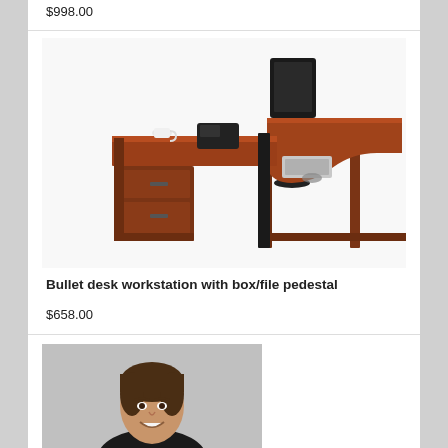$998.00
[Figure (photo): Brown cherry wood L-shaped bullet desk workstation with a rounded front section, left-side return with box/file pedestal drawers, desktop accessories including telephone, coffee cup, and monitor]
Bullet desk workstation with box/file pedestal
$658.00
[Figure (photo): Portrait photo of a smiling woman with short brown hair against a light gray background]